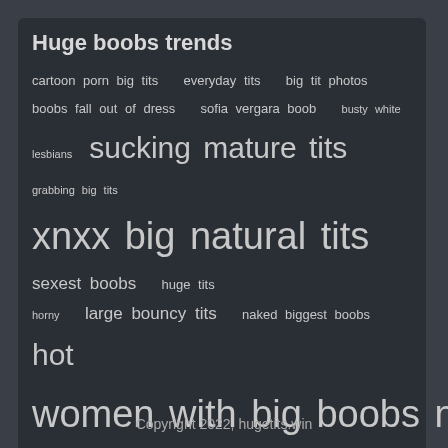Huge boobs trends
cartoon porn big tits  everyday tits  big tit photos  boobs fall out of dress  sofia vergara boob  busty white lesbians  sucking mature tits  grabbing big tits  xnxx big natural tits  sexest boobs  huge tits  horny  large bouncy tits  naked biggest boobs  hot women with big boobs nude  saggy tits  sex videos  kareena kapoor tits  dick pussy tits  sexy  strip tits  strech marks on boobs  hot nurse big tits
Copyright 2022, hugetits.win